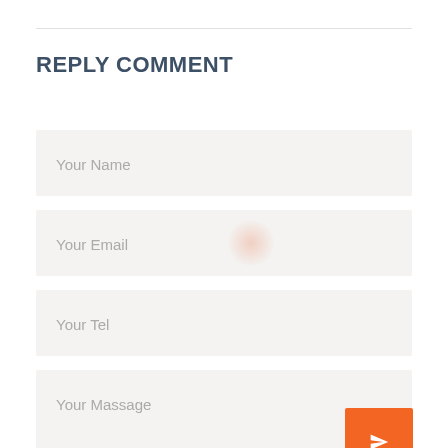REPLY COMMENT
Your Name
Your Email
Your Tel
Your Massage